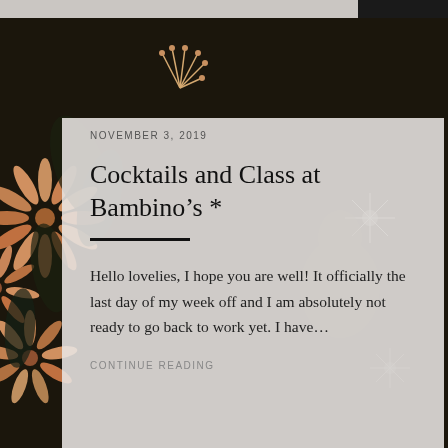[Figure (photo): Background photo of dark flowers and foliage with a person in the background, partially visible]
NOVEMBER 3, 2019
Cocktails and Class at Bambino’s *
Hello lovelies, I hope you are well! It officially the last day of my week off and I am absolutely not ready to go back to work yet. I have…
CONTINUE READING